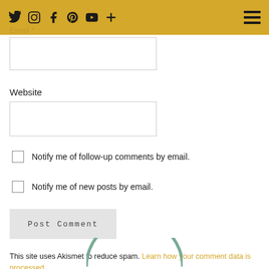Social icons: Twitter, Instagram, Facebook, Pinterest, YouTube, Plus | Hamburger menu
Email *
Website
Notify me of follow-up comments by email.
Notify me of new posts by email.
Post Comment
This site uses Akismet to reduce spam. Learn how your comment data is processed.